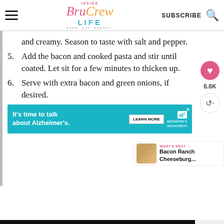Inside Bru Crew Life - BAKE. EAT. REPEAT. | SUBSCRIBE
and creamy. Season to taste with salt and pepper.
5. Add the bacon and cooked pasta and stir until coated. Let sit for a few minutes to thicken up.
6. Serve with extra bacon and green onions, if desired.
[Figure (infographic): Advertisement: It's time to talk about Alzheimer's. Learn More. Alzheimer's association logo.]
[Figure (infographic): What's Next: Bacon Ranch Cheeseburg... with thumbnail image]
[Figure (infographic): Advertisement: DON'T TEXT AND [car emoji]. Ad badge. NHTSA logo.]